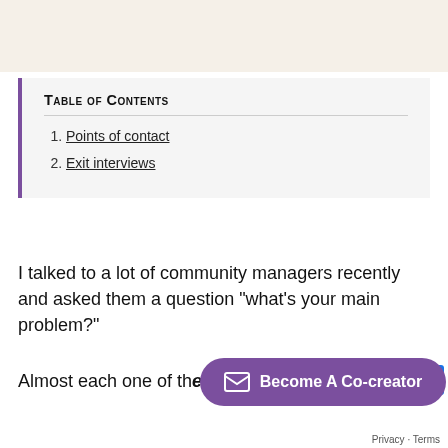[Figure (photo): Beige/cream colored background image area at the top of the page]
Table of Contents
1. Points of contact
2. Exit interviews
I talked to a lot of community managers recently and asked them a question "what's your main problem?"
Almost each one of th… engagement.
[Figure (other): Purple CTA button with envelope icon and text 'Become A Co-creator']
Privacy · Terms